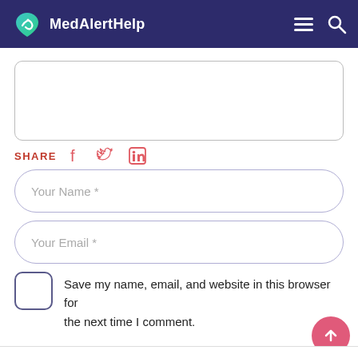MedAlertHelp
[Figure (screenshot): Comment textarea input box, empty]
SHARE
[Figure (infographic): Social share icons: Facebook, Twitter, LinkedIn]
[Figure (screenshot): Your Name * input field]
[Figure (screenshot): Your Email * input field]
Save my name, email, and website in this browser for the next time I comment.